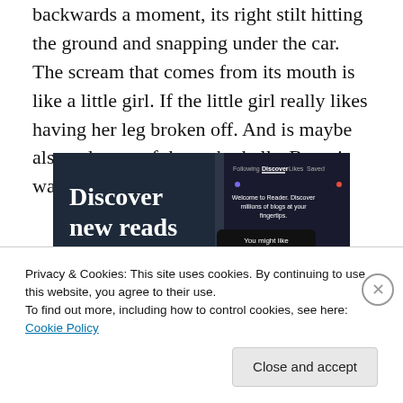backwards a moment, its right stilt hitting the ground and snapping under the car. The scream that comes from its mouth is like a little girl. If the little girl really likes having her leg broken off. And is maybe also a demon of the netherhells. But – it was a stilt. Right?
[Figure (screenshot): WordPress Reader app advertisement showing 'Discover new reads on the go.' with a mobile app screenshot displaying blog discovery features including Following, Discover, Likes, Saved tabs and recommended tags like Family, Reading, Music.]
Privacy & Cookies: This site uses cookies. By continuing to use this website, you agree to their use.
To find out more, including how to control cookies, see here: Cookie Policy